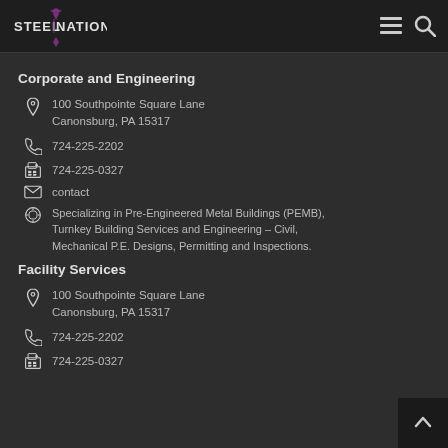SteelNation logo with menu and search icons
Corporate and Engineering
100 Southpointe Square Lane Canonsburg, PA 15317
724-225-2202
724-225-0327
contact
Specializing in Pre-Engineered Metal Buildings (PEMB), Turnkey Building Services and Engineering – Civil, Mechanical P.E. Designs, Permitting and Inspections.
Facility Services
100 Southpointe Square Lane Canonsburg, PA 15317
724-225-2202
724-225-0327